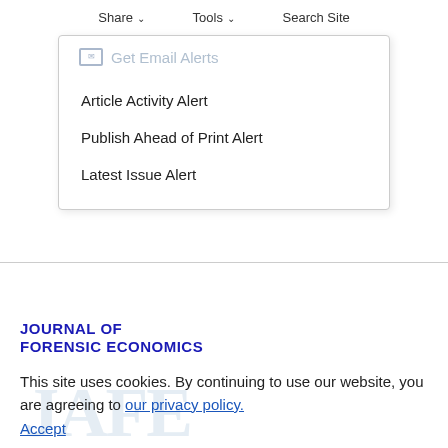Share  Tools  Search Site
Get Email Alerts
Article Activity Alert
Publish Ahead of Print Alert
Latest Issue Alert
JOURNAL OF FORENSIC ECONOMICS
This site uses cookies. By continuing to use our website, you are agreeing to our privacy policy. Accept